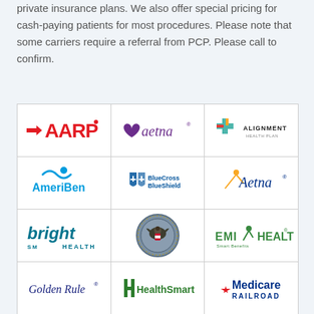private insurance plans. We also offer special pricing for cash-paying patients for most procedures. Please note that some carriers require a referral from PCP. Please call to confirm.
[Figure (other): A 4-row by 3-column grid of insurance carrier logos including AARP, Aetna (purple), Alignment Health Plan, AmeriBen, BlueCross BlueShield, Aetna (blue), Bright Health, US Department of Veterans Affairs seal, EMI Health, Golden Rule, HealthSmart, and Medicare Railroad.]